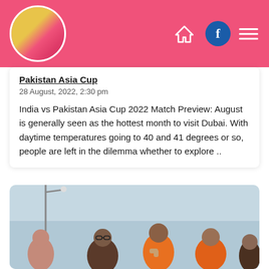[Figure (photo): Website header bar with pink background, circular avatar photo on the left, and navigation icons (home, Facebook, hamburger menu) on the right]
Pakistan Asia Cup
28 August, 2022, 2:30 pm
India vs Pakistan Asia Cup 2022 Match Preview: August is generally seen as the hottest month to visit Dubai. With daytime temperatures going to 40 and 41 degrees or so, people are left in the dilemma whether to explore ..
[Figure (photo): Group of people on a boat wearing orange life vests, posing and smiling for the camera]